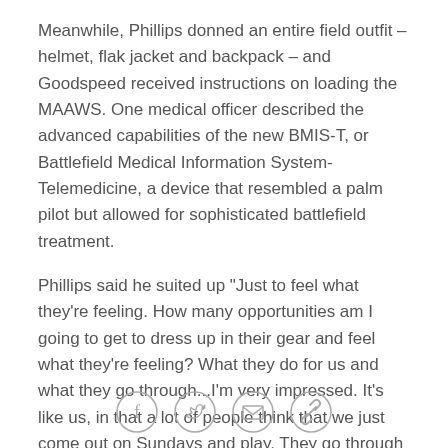Meanwhile, Phillips donned an entire field outfit – helmet, flak jacket and backpack – and Goodspeed received instructions on loading the MAAWS. One medical officer described the advanced capabilities of the new BMIS-T, or Battlefield Medical Information System-Telemedicine, a device that resembled a palm pilot but allowed for sophisticated battlefield treatment.
Phillips said he suited up "Just to feel what they're feeling. How many opportunities am I going to get to dress up in their gear and feel what they're feeling? What they do for us and what they go through...I'm very impressed. It's like us, in that a lot of people think that we just come out on Sundays and play. They go through rigorous training, just like we do. "
Working Up an Appetite
[Figure (other): Social share icons: Facebook (f), Twitter (bird), Email (envelope), Link (chain link) — four circular outlined icons in a row at the bottom of the page]